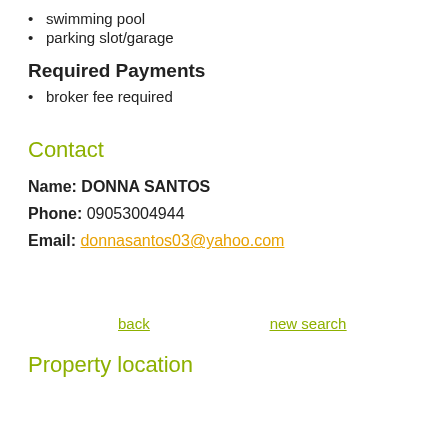swimming pool
parking slot/garage
Required Payments
broker fee required
Contact
Name: DONNA SANTOS
Phone: 09053004944
Email: donnasantos03@yahoo.com
back   new search
Property location